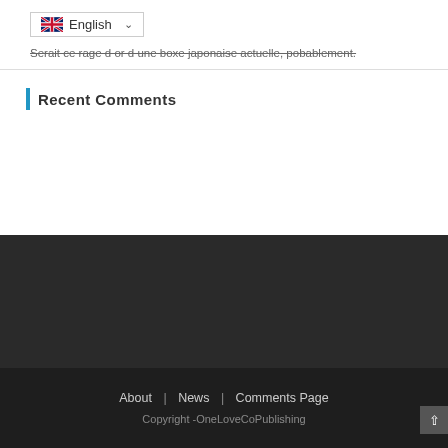[Figure (screenshot): Language selector dropdown showing UK flag and 'English' with a chevron/dropdown arrow]
Serait ce rage d or d une boxe japonaise actuelle, pobablement.
Recent Comments
About | News | Comments Page
Copyright -OneLoveCoPublishing